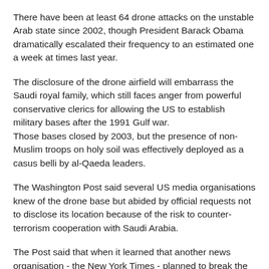There have been at least 64 drone attacks on the unstable Arab state since 2002, though President Barack Obama dramatically escalated their frequency to an estimated one a week at times last year.
The disclosure of the drone airfield will embarrass the Saudi royal family, which still faces anger from powerful conservative clerics for allowing the US to establish military bases after the 1991 Gulf war. Those bases closed by 2003, but the presence of non-Muslim troops on holy soil was effectively deployed as a casus belli by al-Qaeda leaders.
The Washington Post said several US media organisations knew of the drone base but abided by official requests not to disclose its location because of the risk to counter-terrorism cooperation with Saudi Arabia.
The Post said that when it learned that another news organisation - the New York Times - planned to break the agreement, it decided to publish what it knew.